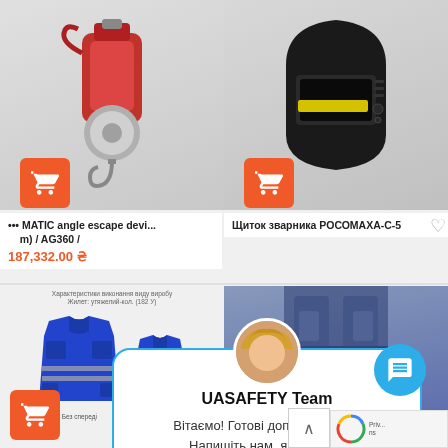[Figure (screenshot): E-commerce product listing page for UASAFETY safety equipment, showing various products including escape device, welding helmet, safety vests, and overalls. A chat popup from UASAFETY Team is overlaid.]
••• MATIC angle escape devi... (4 ... m) / AG360 /
187,332.00 ₴
Щиток зварника РОСОМАХА-С-5
UASAFETY Team
Вітаємо! Готові допомогти вам. Напишіть нам, якщо у вас виникнуть запитання.